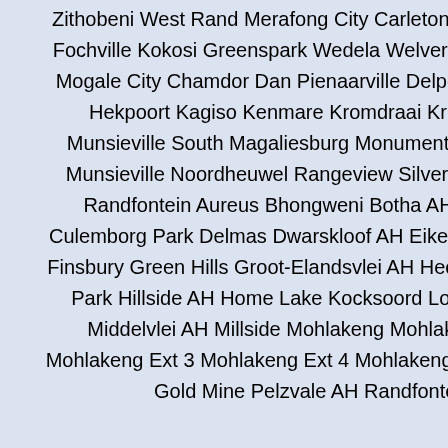Zithobeni West Rand Merafong City Carletonville Khutsong Fochville Kokosi Greenspark Wedela Welverdiend Blybank Mogale City Chamdor Dan Pienaarville Delporton Factoria Hekpoort Kagiso Kenmare Kromdraai Krugersdorp Munsieville South Magaliesburg Monument Muldersdrift Munsieville Noordheuwel Rangeview Silverfields Tarlton Randfontein Aureus Bhongweni Botha AH Brandvlei Culemborg Park Delmas Dwarskloof AH Eikepark Eland SH Finsbury Green Hills Groot-Elandsvlei AH Hectorton Helikon Park Hillside AH Home Lake Kocksoord Loumarina AH Middelvlei AH Millside Mohlakeng Mohlakeng Ext 1 Mohlakeng Ext 3 Mohlakeng Ext 4 Mohlakeng Ext 7 Panvlak Gold Mine Pelzvale AH Randfontein